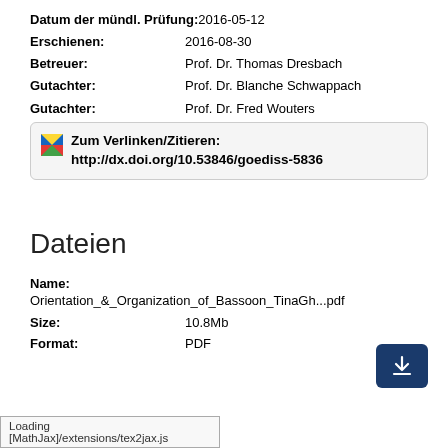Datum der mündl. Prüfung: 2016-05-12
Erschienen: 2016-08-30
Betreuer: Prof. Dr. Thomas Dresbach
Gutachter: Prof. Dr. Blanche Schwappach
Gutachter: Prof. Dr. Fred Wouters
Zum Verlinken/Zitieren: http://dx.doi.org/10.53846/goediss-5836
Dateien
Name:
Orientation_&_Organization_of_Bassoon_TinaGh...pdf
Size: 10.8Mb
Format: PDF
[Figure (other): Download button with arrow icon]
Loading [MathJax]/extensions/tex2jax.js